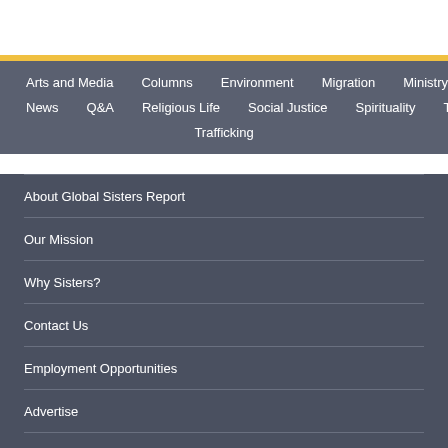Arts and Media
Columns
Environment
Migration
Ministry
News
Q&A
Religious Life
Social Justice
Spirituality
The Life
Trafficking
About Global Sisters Report
Our Mission
Why Sisters?
Contact Us
Employment Opportunities
Advertise
Sign up for GSR emails